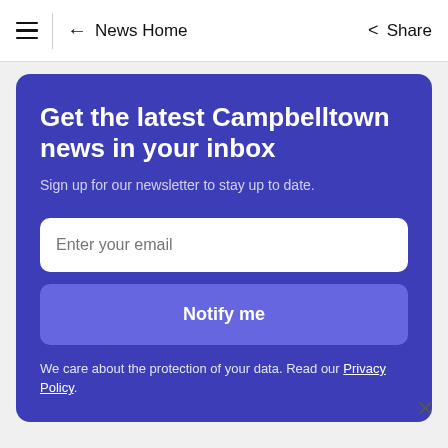≡ | ← News Home   < Share
Get the latest Campbelltown news in your inbox
Sign up for our newsletter to stay up to date.
Enter your email
Notify me
We care about the protection of your data. Read our Privacy Policy.
Ad